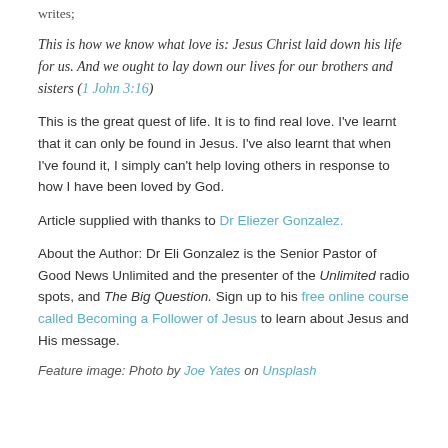writes;
This is how we know what love is: Jesus Christ laid down his life for us. And we ought to lay down our lives for our brothers and sisters (1 John 3:16)
This is the great quest of life. It is to find real love. I've learnt that it can only be found in Jesus. I've also learnt that when I've found it, I simply can't help loving others in response to how I have been loved by God.
Article supplied with thanks to Dr Eliezer Gonzalez.
About the Author: Dr Eli Gonzalez is the Senior Pastor of Good News Unlimited and the presenter of the Unlimited radio spots, and The Big Question. Sign up to his free online course called Becoming a Follower of Jesus to learn about Jesus and His message.
Feature image: Photo by Joe Yates on Unsplash